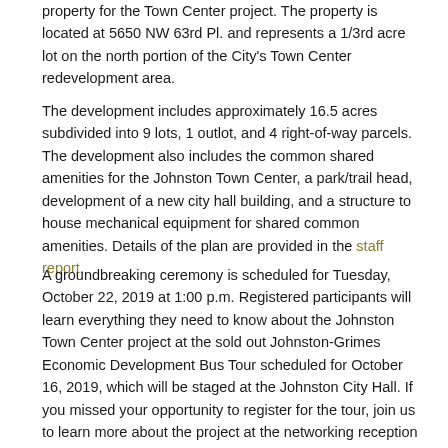property for the Town Center project. The property is located at 5650 NW 63rd Pl. and represents a 1/3rd acre lot on the north portion of the City's Town Center redevelopment area.
The development includes approximately 16.5 acres subdivided into 9 lots, 1 outlot, and 4 right-of-way parcels. The development also includes the common shared amenities for the Johnston Town Center, a park/trail head, development of a new city hall building, and a structure to house mechanical equipment for shared common amenities. Details of the plan are provided in the staff report.
A groundbreaking ceremony is scheduled for Tuesday, October 22, 2019 at 1:00 p.m. Registered participants will learn everything they need to know about the Johnston Town Center project at the sold out Johnston-Grimes Economic Development Bus Tour scheduled for October 16, 2019, which will be staged at the Johnston City Hall. If you missed your opportunity to register for the tour, join us to learn more about the project at the networking reception at Community State Bank at 5 PM immediately following the bus tour.